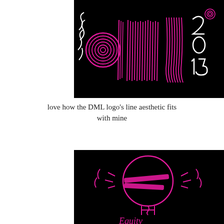[Figure (logo): DML 2015 logo on black background with pink and white swirling line art spelling 'dml' with '2015' in white]
love how the DML logo’s line aesthetic fits with mine
[Figure (illustration): Black background illustration of a light bulb drawn with pink/magenta lines with 'Equity' written below in pink, with a back-to-top arrow button overlay]